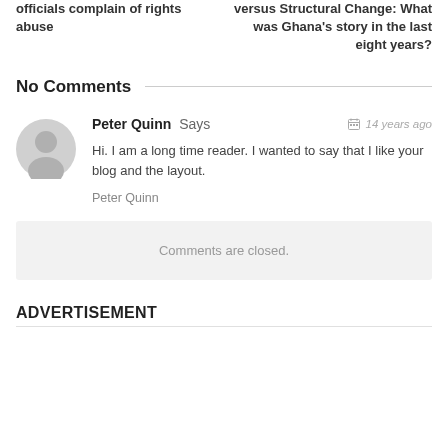officials complain of rights abuse
versus Structural Change: What was Ghana's story in the last eight years?
No Comments
Peter Quinn Says — 14 years ago
Hi. I am a long time reader. I wanted to say that I like your blog and the layout.
Peter Quinn
Comments are closed.
ADVERTISEMENT